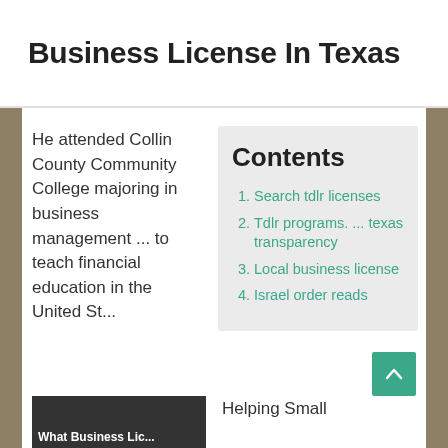Business License In Texas
He attended Collin County Community College majoring in business management ... to teach financial education in the United St...
Contents
Search tdlr licenses
Tdlr programs. ... texas transparency
Local business license
Israel order reads
Police say 65 license suspensions didn't stop a North Lindenhurst ... Former President George HW Bush died Nov. 30 in Houston ...
Helping Small